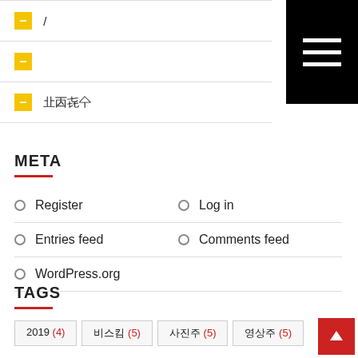/ (minus icon)
(minus icon, empty text)
□□□□ (minus icon with Korean text)
META
Register
Log in
Entries feed
Comments feed
WordPress.org
TAGS
2019 (4)
□□□ (5)
□□□ (5)
□□□ (5)